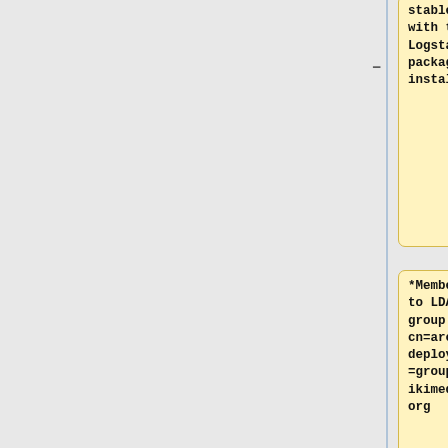[Figure (other): Diff view showing two columns of code/wiki content boxes. Left column (yellow) shows removed content, right column (blue) shows added content. Top-left yellow box contains 'stable host with the Logstash package installed'. Top-right blue box contains '(Beta) Logstash}}'. Middle yellow box contains '*Membership to LDAP group cn=archiva-deployers,ou=groups,dc=wikimedia,dc=org'. Empty boxes below. Bottom-left yellow box contains '====Build Process===='. Bottom-right blue box contains '==Beta Cluster Logstash=='. Bottom yellow box contains 'First, create a'.]
stable host with the Logstash package installed
(Beta)
Logstash}}
*Membership to LDAP group cn=archiva-deployers,ou=groups,dc=wikimedia,dc=org
====Build Process====
==Beta Cluster Logstash==
First, create a